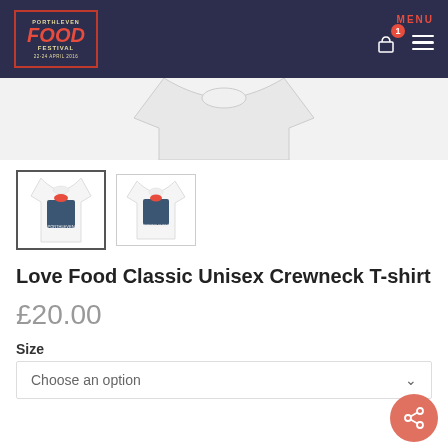Porthleven Food Festival - MENU
[Figure (photo): White crewneck t-shirt with Porthleven Food Festival graphic print, large product image cropped at top]
[Figure (photo): Thumbnail 1 (selected/active border): white t-shirt with Love Food festival graphic, front view]
[Figure (photo): Thumbnail 2: white t-shirt with Love Food festival graphic, alternate view]
Love Food Classic Unisex Crewneck T-shirt
£20.00
Size
Choose an option